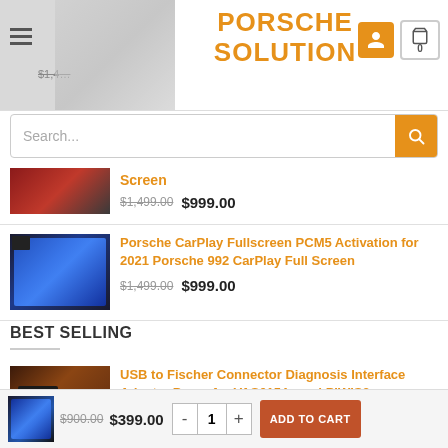[Figure (screenshot): Website header with Porsche Solution logo in orange, hamburger menu, user icon, and cart icon showing 0]
[Figure (screenshot): Search bar with placeholder text 'Search...' and orange search button]
[Figure (photo): Product thumbnail showing car interior with red screen]
Screen
$1,499.00 $999.00
[Figure (photo): Product thumbnail showing CarPlay fullscreen interface]
Porsche CarPlay Fullscreen PCM5 Activation for 2021 Porsche 992 CarPlay Full Screen
$1,499.00 $999.00
BEST SELLING
[Figure (photo): Product thumbnail showing USB to Fischer connector]
USB to Fischer Connector Diagnosis Interface Adapter Proxy for VAS6154a and PIWIS3
[Figure (photo): Small product thumbnail at bottom]
$900.00 $399.00
- 1 + ADD TO CART